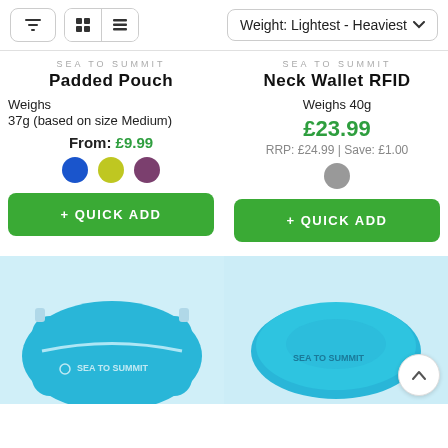[Figure (screenshot): Toolbar with filter button, grid/list view toggle, and sort dropdown showing 'Weight: Lightest - Heaviest']
SEA TO SUMMIT
Padded Pouch
Weighs
37g (based on size Medium)
From: £9.99
[Figure (illustration): Three color swatches: blue, yellow-green, purple]
+ QUICK ADD
SEA TO SUMMIT
Neck Wallet RFID
Weighs 40g
£23.99
RRP: £24.99 | Save: £1.00
[Figure (illustration): One gray color swatch]
+ QUICK ADD
[Figure (photo): Blue Sea to Summit padded pouch product image]
[Figure (photo): Blue Sea to Summit inflatable pillow product image]